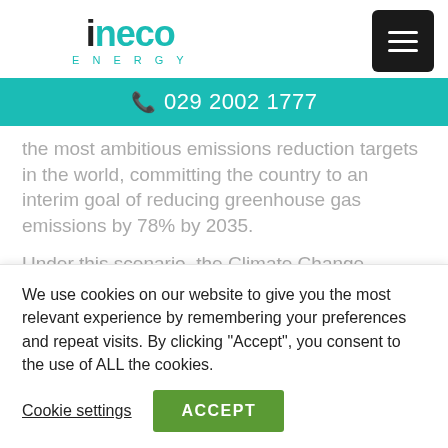[Figure (logo): Ineco Energy logo with teal accent letters and ENERGY subtitle]
[Figure (other): Black hamburger menu button]
029 2002 1777
the most ambitious emissions reduction targets in the world, committing the country to an interim goal of reducing greenhouse gas emissions by 78% by 2035.
Under this scenario, the Climate Change Committee says that wind and solar will need to
We use cookies on our website to give you the most relevant experience by remembering your preferences and repeat visits. By clicking "Accept", you consent to the use of ALL the cookies.
Cookie settings
ACCEPT